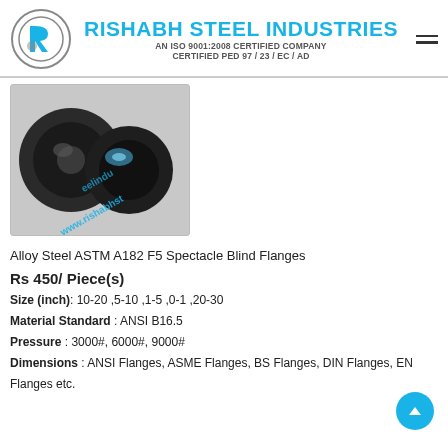RISHABH STEEL INDUSTRIES — AN ISO 9001:2008 CERTIFIED COMPANY — CERTIFIED PED 97 / 23 / EC / AD
[Figure (photo): Photo of Alloy Steel ASTM A182 F5 Spectacle Blind Flanges — two flanged discs, with watermark www.rishabhsteelindu...]
Alloy Steel ASTM A182 F5 Spectacle Blind Flanges
Rs 450/ Piece(s)
Size (inch): 10-20 ,5-10 ,1-5 ,0-1 ,20-30
Material Standard : ANSI B16.5
Pressure : 3000#, 6000#, 9000#
Dimensions : ANSI Flanges, ASME Flanges, BS Flanges, DIN Flanges, EN Flanges etc.